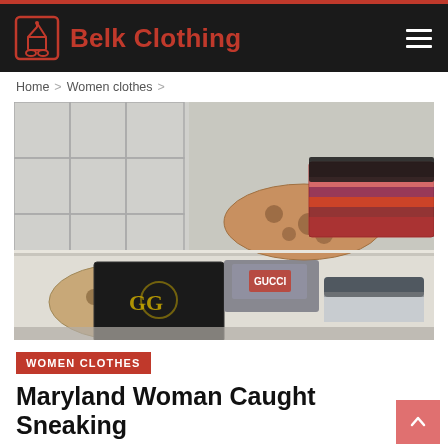Belk Clothing
Home > Women clothes >
[Figure (photo): A table covered with various folded clothing items, scarves, and textiles laid out flat, appearing to be seized or recovered merchandise in a retail security or law enforcement setting.]
WOMEN CLOTHES
Maryland Woman Caught Sneaking